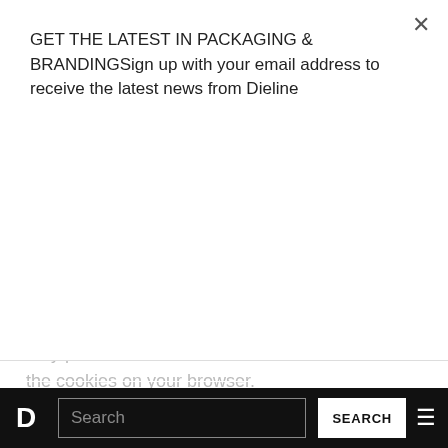GET THE LATEST IN PACKAGING & BRANDINGSign up with your email address to receive the latest news from Dieline
Subscribe
may provide details on how to exercise control of the cookies on your browser.
Please note that depending on the cookies you disable, you may not be able to view content or use other features of our Digital Media. You may also find that certain components of the Digital Media may lose functionality or behave in a manner not intended by Company, as Company relies on cookies to provide the Website and Digital Content.
D  Search  SEARCH  ☰